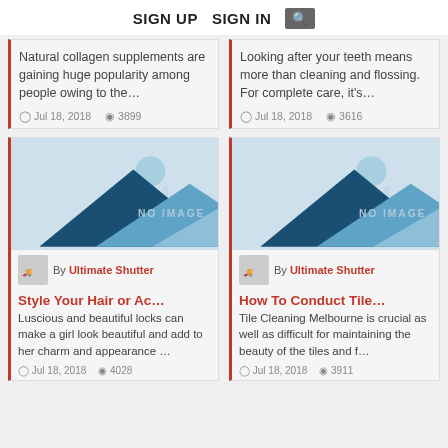SIGN UP  SIGN IN  [search]
Natural collagen supplements are gaining huge popularity among people owing to the…
Jul 18, 2018   3899
Looking after your teeth means more than cleaning and flossing. For complete care, it's…
Jul 18, 2018   3616
[Figure (illustration): Placeholder image with mountains and city skyline — NO IMAGE]
By Ultimate Shutter
Style Your Hair or Ac…
Luscious and beautiful locks can make a girl look beautiful and add to her charm and appearance …
Jul 18, 2018   4028
[Figure (illustration): Placeholder image with mountains and city skyline — NO IMAGE]
By Ultimate Shutter
How To Conduct Tile…
Tile Cleaning Melbourne is crucial as well as difficult for maintaining the beauty of the tiles and f…
Jul 18, 2018   3911